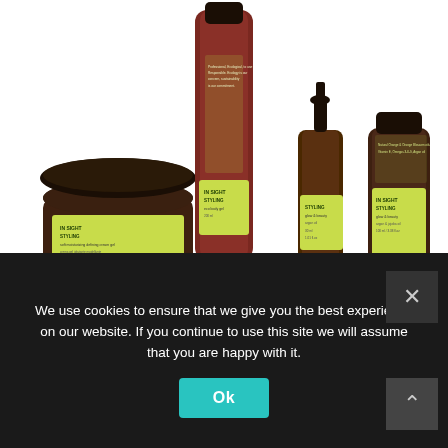[Figure (photo): Four hair styling product containers from INSIGHT brand: a wide dark jar with green label (styling product), a tall reddish-brown tube with green label, a small dark dropper bottle with green label, and a medium dark bottle with green label. All have similar branding with green accent labels.]
[Figure (photo): Partial view of a gray/silver cosmetic tube bottom portion, visible on white background.]
We use cookies to ensure that we give you the best experience on our website. If you continue to use this site we will assume that you are happy with it.
Ok